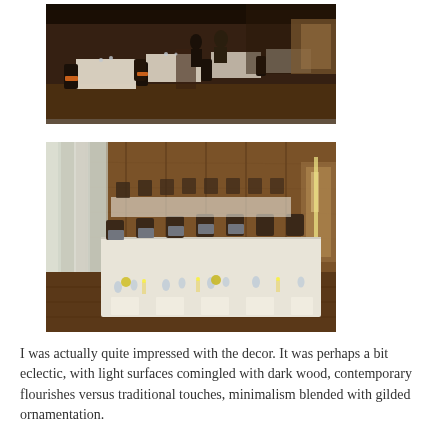[Figure (photo): Interior of a restaurant with diners seated at tables with white tablecloths, dark wood chairs with orange cushions, and a long aisle down the center. People are visible dining and walking.]
[Figure (photo): Private dining room with a long table set with white linens, dark leather chairs, glassware, candles, and yellow floral centerpieces. The walls are paneled with warm wood and large windows with sheer curtains are visible on the left.]
I was actually quite impressed with the decor. It was perhaps a bit eclectic, with light surfaces comingled with dark wood, contemporary flourishes versus traditional touches, minimalism blended with gilded ornamentation.